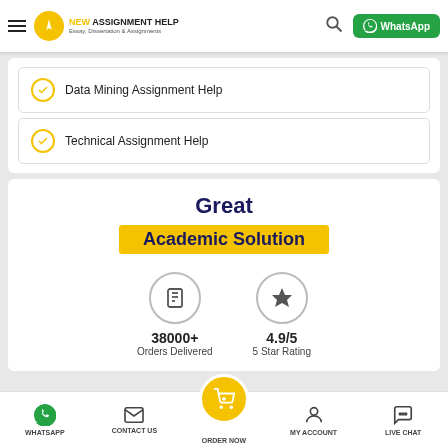NEW ASSIGNMENT HELP – Essay, Dissertation & Assignments
Data Mining Assignment Help
Technical Assignment Help
Great Academic Solution
38000+ Orders Delivered
4.9/5 5 Star Rating
WHATSAPP | CONTACT US | ORDER NOW | MY ACCOUNT | LIVE CHAT